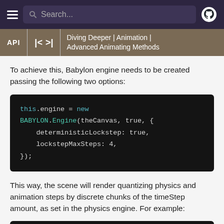Search... (navigation bar with hamburger menu and GitHub icon)
API | < | >| | Diving Deeper | Animation | Advanced Animating Methods
To achieve this, Babylon engine needs to be created passing the following two options:
[Figure (screenshot): Code block showing: this.engine = new BABYLON.Engine(theCanvas, true, { deterministicLockstep: true, lockstepMaxSteps: 4, });]
This way, the scene will render quantizing physics and animation steps by discrete chunks of the timeStep amount, as set in the physics engine. For example:
[Figure (screenshot): Beginning of another code block, cut off at bottom of page]